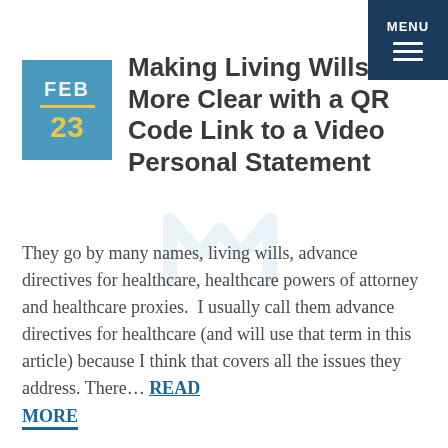MENU
Making Living Wills More Clear with a QR Code Link to a Video Personal Statement
They go by many names, living wills, advance directives for healthcare, healthcare powers of attorney and healthcare proxies.  I usually call them advance directives for healthcare (and will use that term in this article) because I think that covers all the issues they address. There… READ MORE